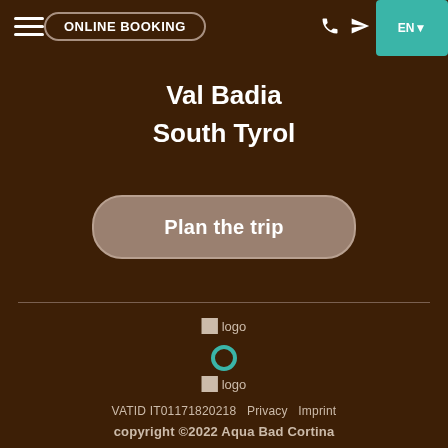ONLINE BOOKING | EN
Val Badia
South Tyrol
Plan the trip
[Figure (logo): logo placeholder image]
[Figure (other): Teal/green circular ring icon]
[Figure (logo): logo placeholder image]
VATID IT01171820218  Privacy  Imprint
copyright ©2022 Aqua Bad Cortina